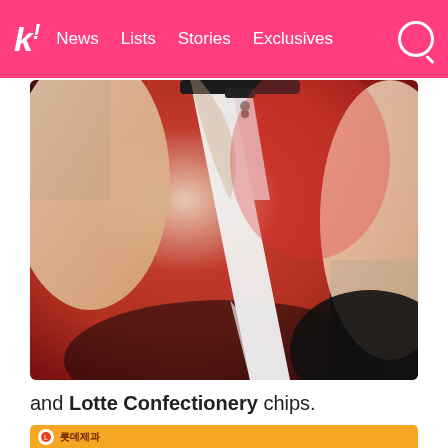k! News Lists Stories Exclusives
[Figure (photo): Close-up fashion photo of a person wearing a white sports bra/top with black straps and choker necklace, against a red background]
and Lotte Confectionery chips.
[Figure (photo): Bottom banner with orange background showing a logo and Korean text, with person's hair visible below]